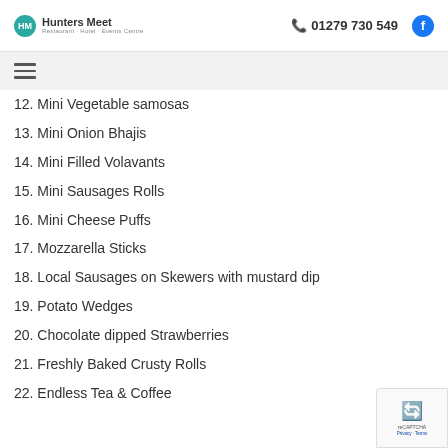Hunters Meet | 01279 730 549
12. Mini Vegetable samosas
13. Mini Onion Bhajis
14. Mini Filled Volavants
15. Mini Sausages Rolls
16. Mini Cheese Puffs
17. Mozzarella Sticks
18. Local Sausages on Skewers with mustard dip
19. Potato Wedges
20. Chocolate dipped Strawberries
21. Freshly Baked Crusty Rolls
22. Endless Tea & Coffee